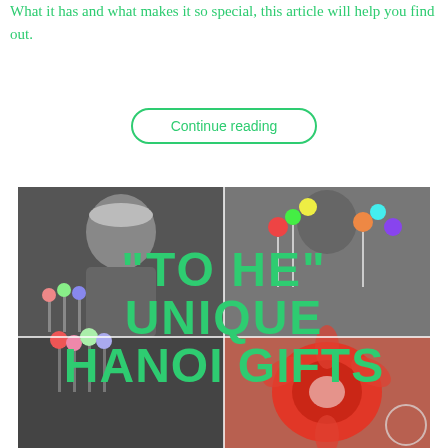What it has and what makes it so special, this article will help you find out.
Continue reading
[Figure (photo): Collage of four photos related to 'To He' Vietnamese folk toys — a craftsman working with colorful figurines on sticks (black and white), colorful puppet figures on sticks, a person holding colorful toy flowers, and a close-up of a red decorative flower. Large green bold text overlay reads: "TO HE" UNIQUE HANOI GIFTS]